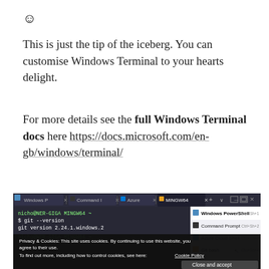☺
This is just the tip of the iceberg. You can customise Windows Terminal to your hearts delight.
For more details see the full Windows Terminal docs here https://docs.microsoft.com/en-gb/windows/terminal/
[Figure (screenshot): Screenshot of Windows Terminal showing MINGW64 tab active with git --version output, and a dropdown menu listing: Windows PowerShell Ctrl+Shift+1, Command Prompt Ctrl+Shift+2, Azure Cloud Shell Ctrl+Shift+3, Git bash Ctrl+Shift+4, Settings Ctrl+. Cookie banner overlay at bottom: Privacy & Cookies: This site uses cookies. By continuing to use this website, you agree to their use. To find out more, including how to control cookies, see here: Cookie Policy. Close and accept button.]